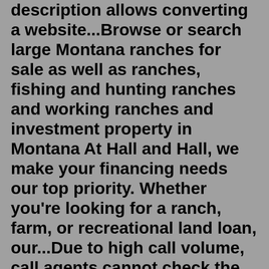description allows converting a website...Browse or search large Montana ranches for sale as well as ranches, fishing and hunting ranches and working ranches and investment property in Montana At Hall and Hall, we make your financing needs our top priority. Whether you're looking for a ranch, farm, or recreational land loan, our...Due to high call volume, call agents cannot check the status of your application. weather of new york in december copperhead ranch rocky point nc. Mar 08, 2022 · But the White House's framing omits a key fact: while domestic oil production in 2021 was higher than it was in 2017, it was lower than it was in 2018, 2019 and 2020, federal statistics show..Phantom Ranch. Tuweep. Havasupai Indian Reservation. South Rim Visitor Transportation Plan. Mather Point/ Visitor Center Improvements. American Recovery & Reinvestment Act 2009. Support Your Park.Find quality Manufacturers, Suppliers, Exporters, Importers, Buyers, Wholesalers, Products and Trade Leads from our award-winning International Trade